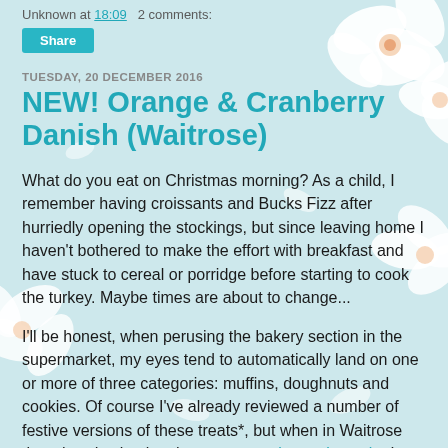Unknown at 18:09   2 comments:
Share
TUESDAY, 20 DECEMBER 2016
NEW! Orange & Cranberry Danish (Waitrose)
What do you eat on Christmas morning? As a child, I remember having croissants and Bucks Fizz after hurriedly opening the stockings, but since leaving home I haven't bothered to make the effort with breakfast and have stuck to cereal or porridge before starting to cook the turkey. Maybe times are about to change...
I'll be honest, when perusing the bakery section in the supermarket, my eyes tend to automatically land on one or more of three categories: muffins, doughnuts and cookies. Of course I've already reviewed a number of festive versions of these treats*, but when in Waitrose the other day buying the mega marzipan mince pie, I caught sight of their very